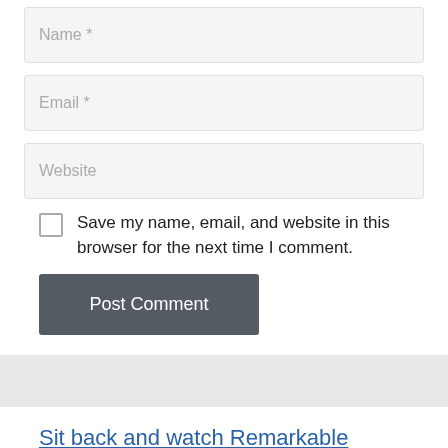Name *
Email *
Website
Save my name, email, and website in this browser for the next time I comment.
Post Comment
Sit back and watch Remarkable Pictures Web based absolutely free